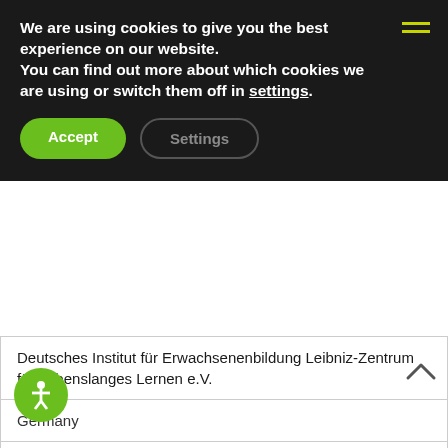We are using cookies to give you the best experience on our website.
You can find out more about which cookies we are using or switch them off in settings.
Accept
Settings
| Deutsches Institut für Erwachsenenbildung Leibniz-Zentrum für Lebenslanges Lernen e.V. |
| Germany |
| DIPF | Leibniz-Institut für Bildungsforschung und Bildungsinformation |
| Germany |
| Duale Hochschule Gera-Eisenach (Cooperative State University Gera-Eisenach) |
| Germany |
| Eberhard-Karls-Universität Tübingen (University of |
[Figure (other): Accessibility icon - green circle with person symbol]